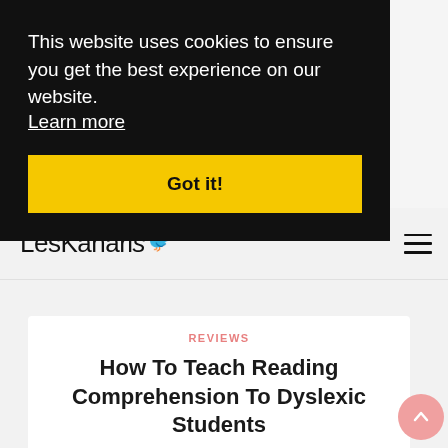This website uses cookies to ensure you get the best experience on our website.
Learn more
Got it!
[Figure (logo): LesKanaris logo with bird icon and hamburger menu]
REVIEWS
How To Teach Reading Comprehension To Dyslexic Students